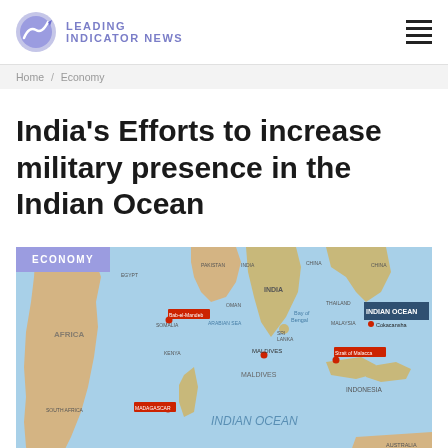LEADING INDICATOR NEWS
Home / Economy
India's Efforts to increase military presence in the Indian Ocean
[Figure (map): Map of the Indian Ocean region showing military presence points marked with red dots, including locations such as Bab-el-Mandeb, Maldives, Strait of Malacca, Madagascar/Mozambique Channel, and others. The map is labeled 'INDIAN OCEAN' in the top right corner.]